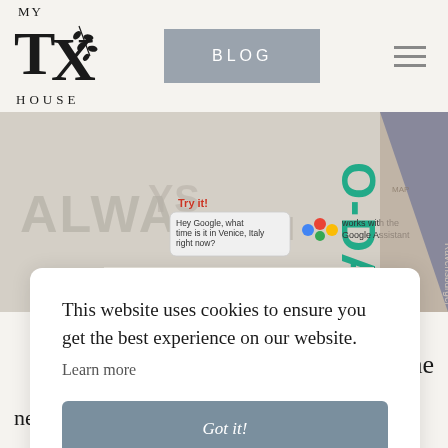[Figure (logo): MY TX HOUSE logo with decorative leaf/branch element]
BLOG
[Figure (photo): Board game box showing text ALWAYS INTUITIVE, O-DATE, WARNING contains button or coin cell battery, Try it! Hey Google what time is it in Venice Italy right now?, works with the Google Assistant, Ravensburger logo]
This website uses cookies to ensure you get the best experience on our website.
Learn more
Got it!
new games was called kNow! This is an